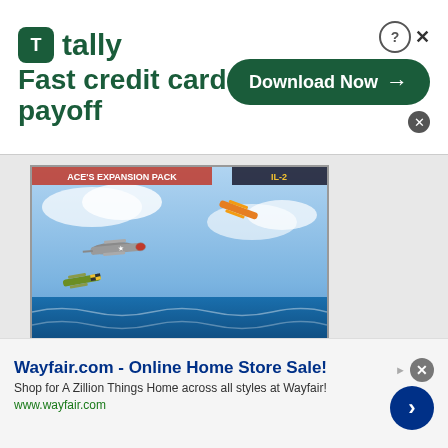[Figure (screenshot): Tally app advertisement banner. Shows Tally logo (green square icon with T) and tagline 'Fast credit card payoff' with a green 'Download Now →' button. Help (?) and X close icons in top right.]
[Figure (screenshot): Video game box art or screenshot showing WWII fighter planes including F4F Wildcat and other aircraft in aerial combat over ocean. Labeled as Ace's Expansion Pack. Ubisoft game.]
The Allies got the opportunity to fly three variants of the F4F Wildcat, two models of the F6F Hellcat, two variants of the SBD Dauntless, and four variants of the F4U Corsair. The Brits got a
[Figure (screenshot): Wayfair.com advertisement. 'Wayfair.com - Online Home Store Sale! Shop for A Zillion Things Home across all styles at Wayfair! www.wayfair.com' with blue navigation arrow button and close X button.]